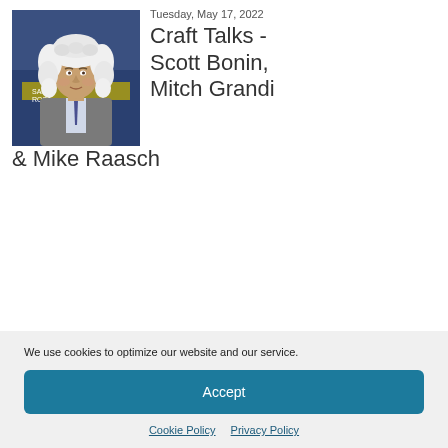[Figure (photo): Photo of a man wearing a white colonial-style curly wig, dressed in a suit and tie, standing in front of a Rotary club banner with 'Santa Rosa' visible]
Tuesday, May 17, 2022
Craft Talks - Scott Bonin, Mitch Grandi & Mike Raasch
We use cookies to optimize our website and our service.
Accept
Cookie Policy   Privacy Policy